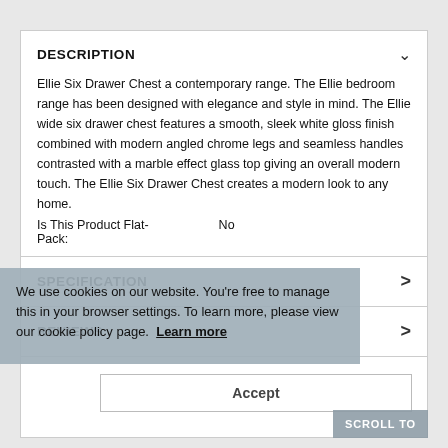DESCRIPTION
Ellie Six Drawer Chest a contemporary range. The Ellie bedroom range has been designed with elegance and style in mind. The Ellie wide six drawer chest features a smooth, sleek white gloss finish combined with modern angled chrome legs and seamless handles contrasted with a marble effect glass top giving an overall modern touch. The Ellie Six Drawer Chest creates a modern look to any home.
Is This Product Flat-Pack:   No
We use cookies on our website. You're free to manage this in your browser settings. To learn more, please view our cookie policy page.  Learn more
SPECIFICATION
REVIEWS
Accept
SCROLL TO